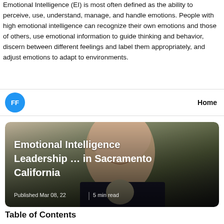Emotional Intelligence (EI) is most often defined as the ability to perceive, use, understand, manage, and handle emotions. People with high emotional intelligence can recognize their own emotions and those of others, use emotional information to guide thinking and behavior, discern between different feelings and label them appropriately, and adjust emotions to adapt to environments.
FF  Home
[Figure (photo): Photo of a smiling bald man in a suit, with overlaid white bold text reading 'Emotional Intelligence Leadership … in Sacramento California' and metadata 'Published Mar 08, 22 | 5 min read' at the bottom.]
Table of Contents